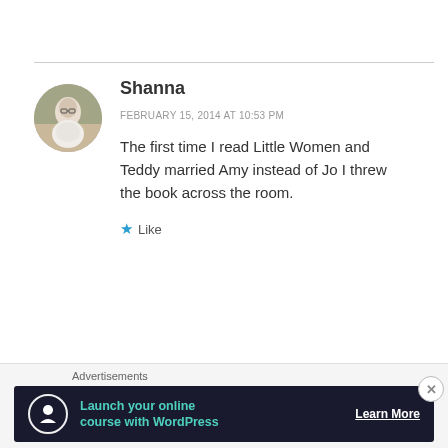Shanna
FEBRUARY 15, 2014 AT 10:53 PM
The first time I read Little Women and Teddy married Amy instead of Jo I threw the book across the room.
Like
Advertisements
[Figure (screenshot): Advertisement banner: dark navy background with circle icon, teal text 'Launch your online course with WordPress', white 'Learn More' button text]